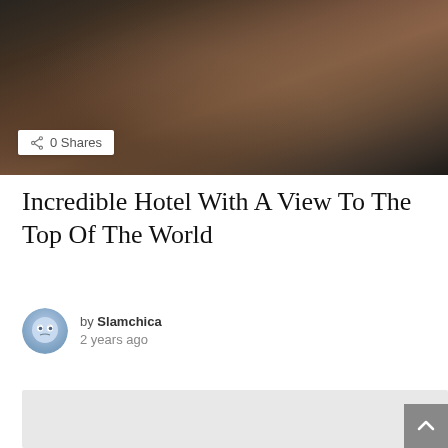[Figure (photo): Aerial/overhead view of a stone hotel building on a rocky hillside with reddish-brown terrain and trees in the background]
0 Shares
Incredible Hotel With A View To The Top Of The World
by Slamchica
2 years ago
[Figure (other): Advertisement block (light grey placeholder)]